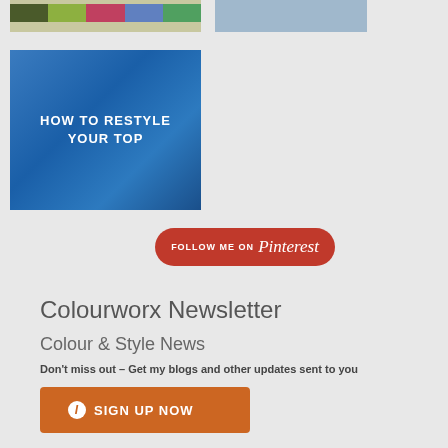[Figure (photo): Top portion showing color swatches (olive, green, pink, blue-purple, green) from a fashion image]
[Figure (photo): Top right cropped photo of woman in blue outfit]
[Figure (photo): Fashion/style photo of woman holding blue fabric with text overlay HOW TO RESTYLE YOUR TOP]
[Figure (infographic): Follow me on Pinterest button - red rounded rectangle button with Pinterest branding]
Colourworx Newsletter
Colour & Style News
Don't miss out – Get my blogs and other updates sent to you
[Figure (infographic): Orange SIGN UP NOW button with info icon]